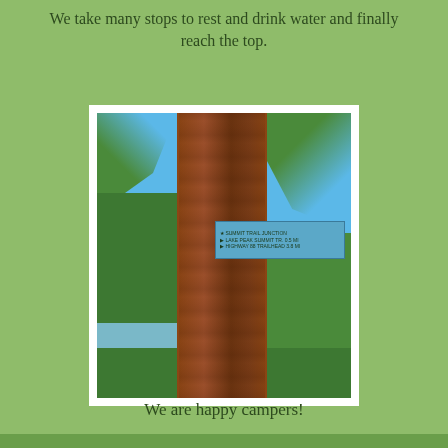We take many stops to rest and drink water and finally reach the top.
[Figure (photo): A large tree trunk in a forest with a blue trail sign attached to it, surrounded by green foliage and blue sky in the background.]
We are happy campers!